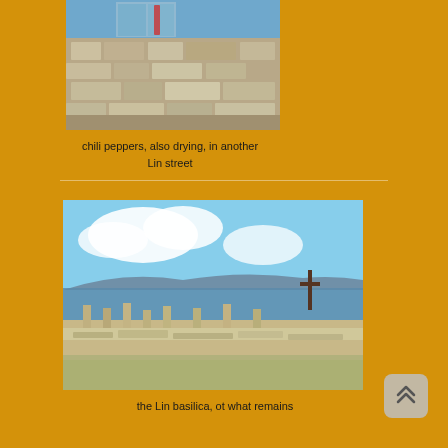[Figure (photo): Stone wall of a building with a window, chili peppers drying in a Lin street]
chili peppers, also drying, in another Lin street
[Figure (photo): Archaeological ruins of the Lin basilica with a cross visible and lake/sea in the background under blue sky with clouds]
the Lin basilica, ot what remains